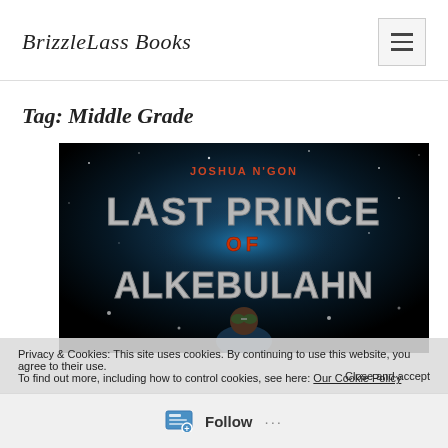BrizzleLass Books
Tag: Middle Grade
[Figure (photo): Book cover for 'Last Prince of Alkebulahn' by Joshua N'Gon, showing metallic 3D title text on a dark space-themed background with a child character at the bottom.]
Privacy & Cookies: This site uses cookies. By continuing to use this website, you agree to their use.
To find out more, including how to control cookies, see here: Our Cookie Policy
Close and accept
Follow